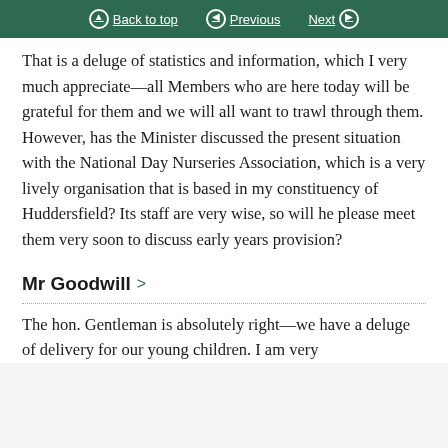Back to top | Previous | Next
That is a deluge of statistics and information, which I very much appreciate—all Members who are here today will be grateful for them and we will all want to trawl through them. However, has the Minister discussed the present situation with the National Day Nurseries Association, which is a very lively organisation that is based in my constituency of Huddersfield? Its staff are very wise, so will he please meet them very soon to discuss early years provision?
Mr Goodwill
The hon. Gentleman is absolutely right—we have a deluge of delivery for our young children. I am very